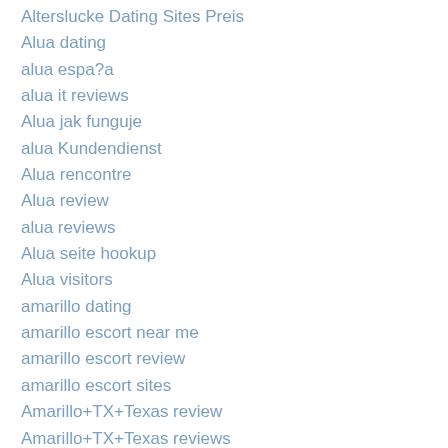Alterslucke Dating Sites Preis
Alua dating
alua espa?a
alua it reviews
Alua jak funguje
alua Kundendienst
Alua rencontre
Alua review
alua reviews
Alua seite hookup
Alua visitors
amarillo dating
amarillo escort near me
amarillo escort review
amarillo escort sites
Amarillo+TX+Texas review
Amarillo+TX+Texas reviews
amatourmatch.cs review